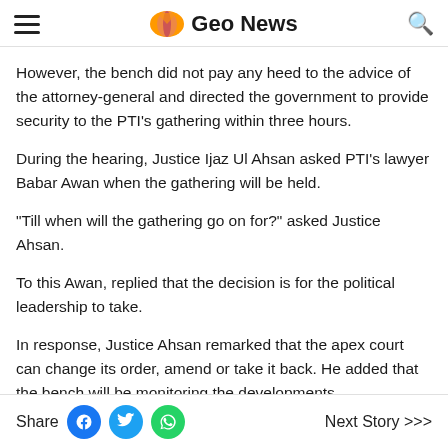Geo News
However, the bench did not pay any heed to the advice of the attorney-general and directed the government to provide security to the PTI's gathering within three hours.
During the hearing, Justice Ijaz Ul Ahsan asked PTI's lawyer Babar Awan when the gathering will be held.
“Till when will the gathering go on for?” asked Justice Ahsan.
To this Awan, replied that the decision is for the political leadership to take.
In response, Justice Ahsan remarked that the apex court can change its order, amend or take it back. He added that the bench will be monitoring the developments.
“Talks between the government committee and PTI committee should be held at 10pm tonight at the chief commissioner’s
Share  Next Story >>>